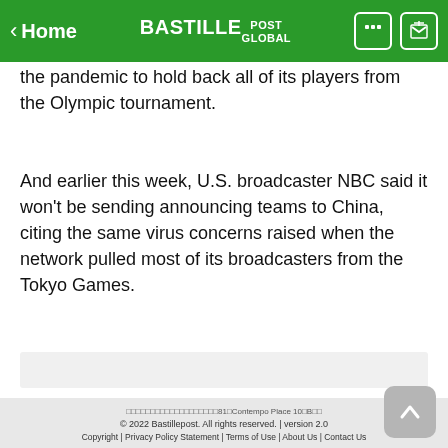‹ Home | BASTILLE POST GLOBAL
the pandemic to hold back all of its players from the Olympic tournament.
And earlier this week, U.S. broadcaster NBC said it won't be sending announcing teams to China, citing the same virus concerns raised when the network pulled most of its broadcasters from the Tokyo Games.
□□□□□□□□□□□□□□□□□□□81□Contempo Place 10□B□□ © 2022 Bastillepost. All rights reserved. | version 2.0 Copyright | Privacy Policy Statement | Terms of Use | About Us | Contact Us